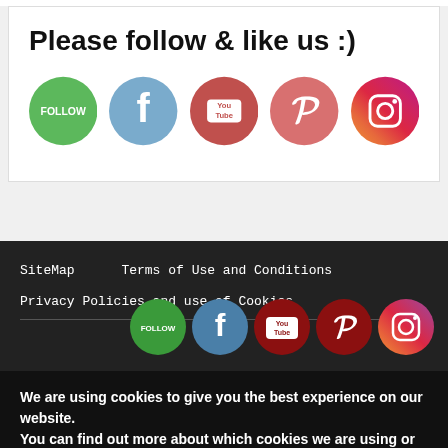Please follow & like us :)
[Figure (infographic): Row of social media icon circles: green Follow button, blue Facebook, red YouTube, pink/red Pinterest, purple/orange Instagram]
SiteMap   Terms of Use and Conditions
Privacy Policies and use of Cookies
[Figure (infographic): Row of small social media icon circles in footer: green Follow, blue Facebook, dark red YouTube, dark red Pinterest, purple Instagram]
We are using cookies to give you the best experience on our website.
You can find out more about which cookies we are using or switch them off in settings.
Accept